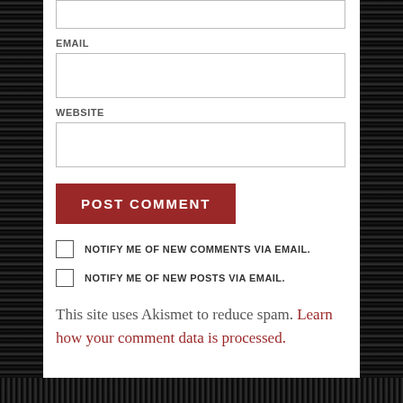EMAIL
WEBSITE
POST COMMENT
NOTIFY ME OF NEW COMMENTS VIA EMAIL.
NOTIFY ME OF NEW POSTS VIA EMAIL.
This site uses Akismet to reduce spam. Learn how your comment data is processed.